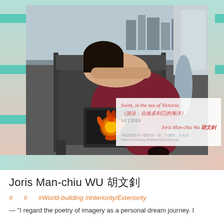[Figure (photo): A woman in a dark red/maroon dress reclining asleep on a ferry seat, head resting on arms on the seatback. A vintage TV monitor with glowing orange/flower imagery is visible nearby. Hong Kong skyline and Victoria Harbour visible through windows in background.]
Swim, in the sea of Victoria 《游泳．在維多利亞的海洋》 14' | 2019 Joris Man-chiu Wu 胡文釗 #我跟我世界 #我就第一屆．六週間，六名合 #World-building #Interiority/Exteriority
Joris Man-chiu WU 胡文釗
# # #World-building #Interiority/Exteriority
— "I regard the poetry of imagery as a personal dream journey. I